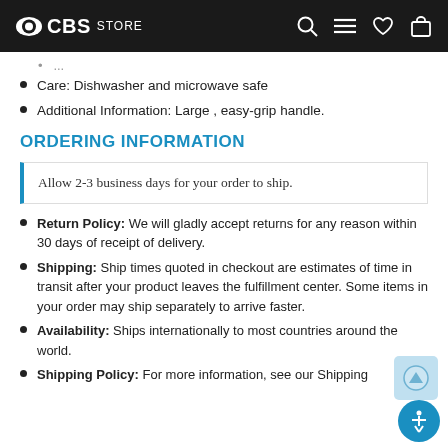CBS STORE
Care: Dishwasher and microwave safe
Additional Information: Large , easy-grip handle.
ORDERING INFORMATION
Allow 2-3 business days for your order to ship.
Return Policy: We will gladly accept returns for any reason within 30 days of receipt of delivery.
Shipping: Ship times quoted in checkout are estimates of time in transit after your product leaves the fulfillment center. Some items in your order may ship separately to arrive faster.
Availability: Ships internationally to most countries around the world.
Shipping Policy: For more information, see our Shipping